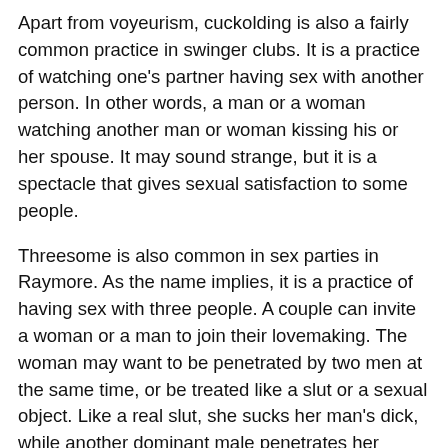Apart from voyeurism, cuckolding is also a fairly common practice in swinger clubs. It is a practice of watching one's partner having sex with another person. In other words, a man or a woman watching another man or woman kissing his or her spouse. It may sound strange, but it is a spectacle that gives sexual satisfaction to some people.
Threesome is also common in sex parties in Raymore. As the name implies, it is a practice of having sex with three people. A couple can invite a woman or a man to join their lovemaking. The woman may want to be penetrated by two men at the same time, or be treated like a slut or a sexual object. Like a real slut, she sucks her man's dick, while another dominant male penetrates her violently and makes her feel unique sensations...
Always in a swingers club, it is possible to attend sessions of cotism, that is to say couples who make love next to each other. They like the idea of having spectators and being able to watch other people having sex next to them as well. So you don't have to be modest if you want to feel comfortable in a place like this. You also have to be ready for anything, because practices like the sex